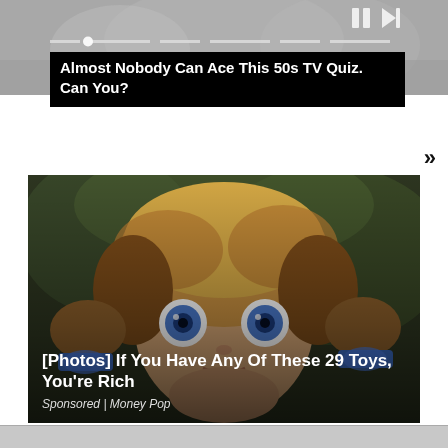[Figure (screenshot): Top banner area showing a grayscale video/image with media playback controls (pause and skip buttons) in the upper right corner.]
Almost Nobody Can Ace This 50s TV Quiz. Can You?
»
[Figure (photo): Close-up photo of a Cabbage Patch-style doll with blonde hair, blue eyes, and blue bows on its pigtails, set against a dark background.]
[Photos] If You Have Any Of These 29 Toys, You're Rich
Sponsored | Money Pop
[Figure (screenshot): Bottom strip of a partially visible next content section.]